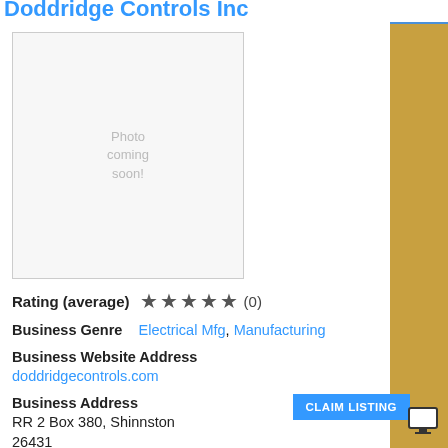Doddridge Controls Inc
[Figure (photo): Photo placeholder with text 'Photo coming soon']
Rating (average) ★★★★★ (0)
Business Genre   Electrical Mfg, Manufacturing
Business Website Address
doddridgecontrols.com
Business Address
RR 2 Box 380, Shinnston
26431
Business Phone Number  3045920634
Business Fax  3045925350
CLAIM LISTING